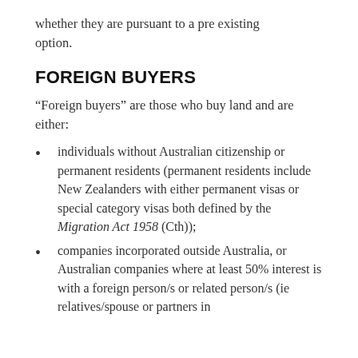whether they are pursuant to a pre existing option.
FOREIGN BUYERS
“Foreign buyers” are those who buy land and are either:
individuals without Australian citizenship or permanent residents (permanent residents include New Zealanders with either permanent visas or special category visas both defined by the Migration Act 1958 (Cth));
companies incorporated outside Australia, or Australian companies where at least 50% interest is with a foreign person/s or related person/s (ie relatives/spouse or partners in